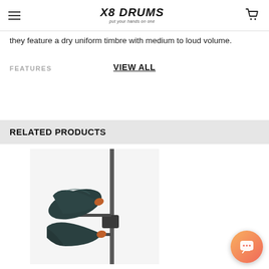X8 Drums — put your hands on one
they feature a dry uniform timbre with medium to loud volume.
FEATURES
VIEW ALL
RELATED PRODUCTS
[Figure (photo): Two dark green/black cowbell instruments mounted on a metal stand clamp, with orange accents, against a white background.]